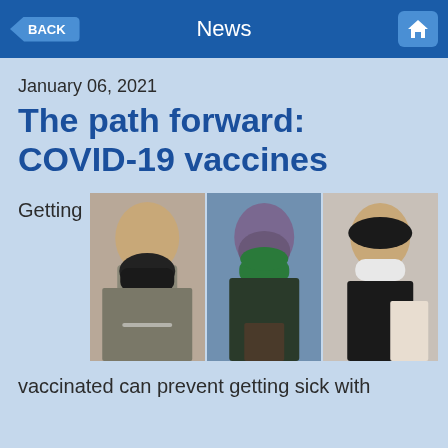BACK | News | Home
January 06, 2021
The path forward: COVID-19 vaccines
Getting
[Figure (photo): Three photos side by side showing people receiving COVID-19 vaccinations: a man in a black mask rolling up his sleeve, a woman with purple hair in a green mask receiving a shot, and a man in a white mask showing his vaccination site on his arm.]
vaccinated can prevent getting sick with